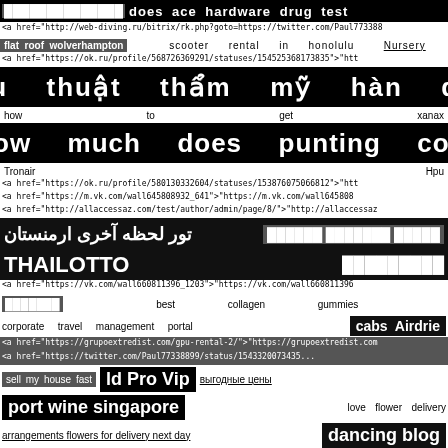█████████████████ does ace hardware drug test
<a href="http://web-diving.ru/bitrix/rk.php?goto=https://twitter.com/Paul773388...
flat roof wolverhampton    scooter rental in honolulu    Nursery
<a href="https://ok.ru/profile/568726369291/statuses/154525368173835">"ht
phẫu thuật thẩm mỹ hàn quốc
how    to    get    xanax
How much does punting cost
Tronair    Hpu
<a href="https://ok.ru/profile/580130332604/statuses/153876075066812">"htt
<a href="https://m.vk.com/wall645808932_641">"https://m.vk.com/wall645808...
<a href="http://allaccessaz.com/test/author/admin/page/8/">"http://allaccessaz...
تور لحظه آخری ارمنستان    ██████ ███████ █████
THAILOTTO    █████████
<a href="https://vk.com/wall660811396_1203">"https://vk.com/wall660811396...
███████    best    collagen    gummies
corporate    travel    management    portal    cabs  Airdrie
<a href="https://grupoextredist.com/gpu-rental-2/">"https://grupoextredist.com...
<a href="https://twitter.com/Paul77338899/status/154332007343535...
sell my house fast    ld Pro Vip    выгодные цены
port wine singapore    love flower delivery
arrangements flowers for delivery next day    dancing blog
Ottoman    pouf    women    investor